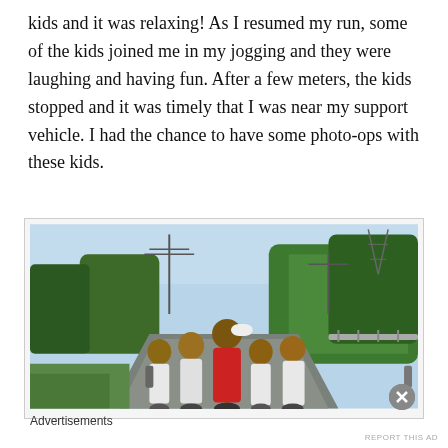kids and it was relaxing! As I resumed my run, some of the kids joined me in my jogging and they were laughing and having fun. After a few meters, the kids stopped and it was timely that I was near my support vehicle. I had the chance to have some photo-ops with these kids.
[Figure (photo): A man in a red athletic shirt and white cap posing with four children on a roadside. Trees and utility poles visible in the background. The road curves to the right.]
Advertisements